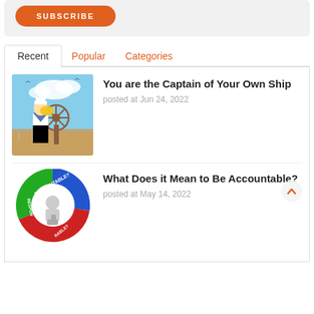[Figure (other): Orange rounded rectangle subscribe button with white bold text SUBSCRIBE]
Recent	Popular	Categories
[Figure (illustration): Illustration of a blonde woman in sailor outfit steering a ship's wheel on a deck with blue sky background]
You are the Captain of Your Own Ship
posted at Jun 24, 2022
[Figure (illustration): Circular diagram with arrows showing ACCOUNTABLE?, RESPON[SIBLE]?, and [ACCOUNT]RABLE? around a grey figure with a thumbs up, in blue, green and red]
What Does it Mean to Be Accountable?
posted at May 14, 2022